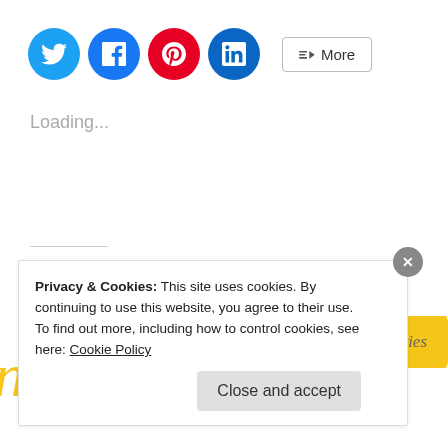[Figure (other): Social sharing buttons: Twitter (blue circle), Facebook (blue circle), Pinterest (red circle), LinkedIn (teal circle), and a More button with share icon]
Loading...
Related
[Figure (other): Yellow ribbon/banner graphic with text 'Mrs Humanities' in gray italic script]
nities in the
Privacy & Cookies: This site uses cookies. By continuing to use this website, you agree to their use.
To find out more, including how to control cookies, see here: Cookie Policy
Close and accept